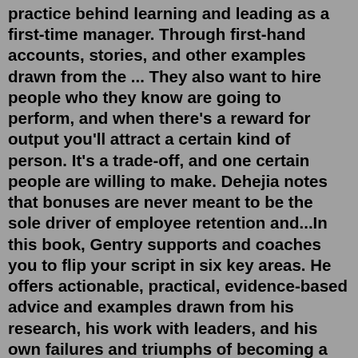practice behind learning and leading as a first-time manager. Through first-hand accounts, stories, and other examples drawn from the ... They also want to hire people who they know are going to perform, and when there's a reward for output you'll attract a certain kind of person. It's a trade-off, and one certain people are willing to make. Dehejia notes that bonuses are never meant to be the sole driver of employee retention and...In this book, Gentry supports and coaches you to flip your script in six key areas. He offers actionable, practical, evidence-based advice and examples drawn from his research, his work with leaders, and his own failures and triumphs of becoming a new leader. Get started flipping your script and become the kind of boss everyone wants to work ...Sep 29, 2021 · As a boss try to be more understanding and diplomatic before resulting in more severe measures. However, it's a fine line between being someone's boss and being someone's friend. Finding a good balance between the two is